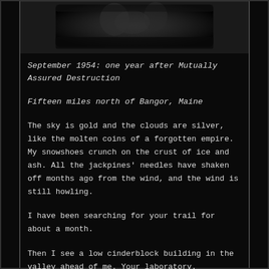[Figure (photo): Dark grayscale photograph showing shadowy figures or landscape, appearing as a moody noir-style image at the top of the page]
September 1954: one year after Mutually Assured Destruction
Fifteen miles north of Bangor, Maine
The sky is gold and the clouds are silver, like the molten coins of a forgotten empire. My snowshoes crunch on the crust of ice and ash. All the jackpines' needles have shaken off months ago from the wind, and the wind is still howling.
I have been searching for your trail for about a month.
Then I see a low cinderblock building in the valley ahead of me. Your laboratory.
It takes me about a half-hour to bust through the